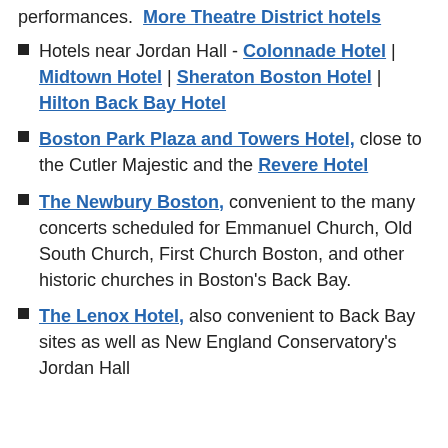performances. More Theatre District hotels
Hotels near Jordan Hall - Colonnade Hotel | Midtown Hotel | Sheraton Boston Hotel | Hilton Back Bay Hotel
Boston Park Plaza and Towers Hotel, close to the Cutler Majestic and the Revere Hotel
The Newbury Boston, convenient to the many concerts scheduled for Emmanuel Church, Old South Church, First Church Boston, and other historic churches in Boston's Back Bay.
The Lenox Hotel, also convenient to Back Bay sites as well as New England Conservatory's Jordan Hall